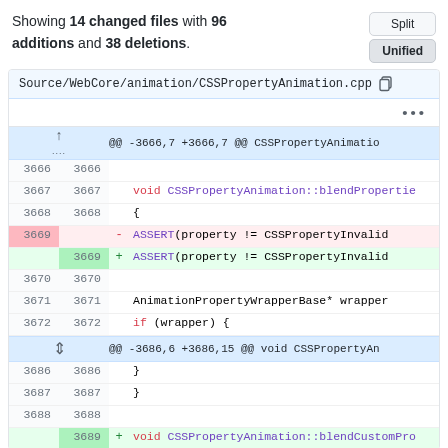Showing 14 changed files with 96 additions and 38 deletions.
[Figure (screenshot): GitHub diff view of Source/WebCore/animation/CSSPropertyAnimation.cpp showing unified split view buttons, expand rows, and code diff lines 3666-3689 with one deletion and one addition of ASSERT line, and addition of blendCustomPro function]